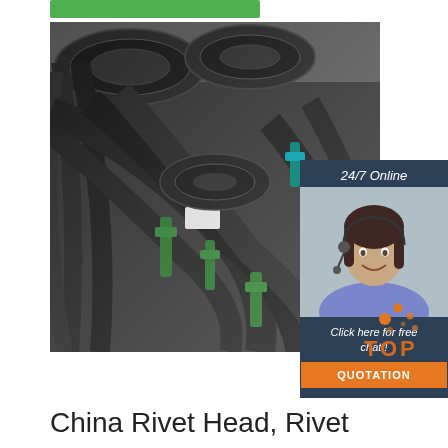[Figure (photo): Coils of black steel wire rods bundled with green straps, stacked in a warehouse]
[Figure (infographic): 24/7 Online chat box with female customer service agent wearing headset, dark blue background, orange QUOTATION button]
[Figure (logo): TOP logo with orange dot pattern]
China Rivet Head, Rivet